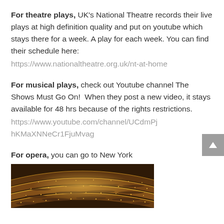For theatre plays, UK's National Theatre records their live plays at high definition quality and put on youtube which stays there for a week. A play for each week. You can find their schedule here:
https://www.nationaltheatre.org.uk/nt-at-home
For musical plays, check out Youtube channel The Shows Must Go On!  When they post a new video, it stays available for 48 hrs because of the rights restrictions.
https://www.youtube.com/channel/UCdmPjhKMaXNNeCr1FjuMvag
For opera, you can go to New York
[Figure (photo): Interior of an ornate theatre/opera house showing multiple curved balcony tiers filled with audience members, with warm golden lighting.]